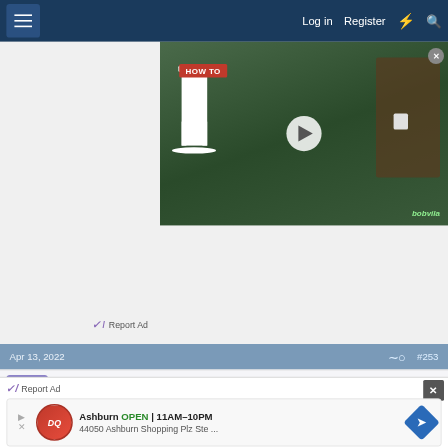Log in   Register
[Figure (screenshot): Video thumbnail showing two chairs (one white, one dark wood) with a HOW TO badge and play button overlay, branded bobvila]
Report Ad
Apr 13, 2022   #253
[Figure (other): User avatar with number 7 on purple background]
76dave
Member
Report Ad
[Figure (screenshot): Dairy Queen ad: Ashburn OPEN 11AM-10PM, 44050 Ashburn Shopping Plz Ste ...]